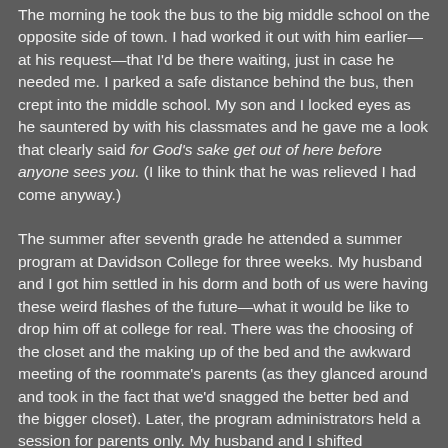The morning he took the bus to the big middle school on the opposite side of town. I had worked it out with him earlier—at his request—that I'd be there waiting, just in case he needed me. I parked a safe distance behind the bus, then crept into the middle school. My son and I locked eyes as he sauntered by with his classmates and he gave me a look that clearly said for God's sake get out of here before anyone sees you. (I like to think that he was relieved I had come anyway.)
The summer after seventh grade he attended a summer program at Davidson College for three weeks. My husband and I got him settled in his dorm and both of us were having these weird flashes of the future—what it would be like to drop him off at college for real. There was the choosing of the closet and the making up of the bed and the awkward meeting of the roommate's parents (as they glanced around and took in the fact that we'd snagged the better bed and the bigger closet). Later, the program administrators held a session for parents only. My husband and I shifted uncomfortably in the large room quietly mocking the anal, helicopter parents who asked questions about the cafeteria